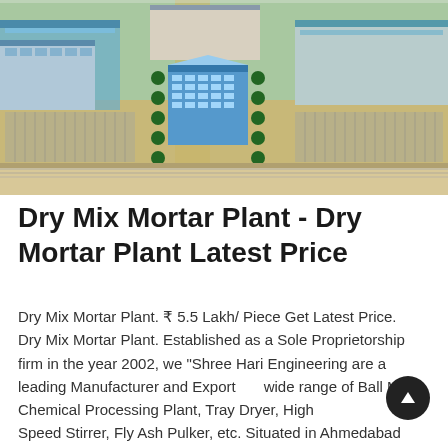[Figure (photo): Aerial view of a large industrial manufacturing complex with multiple blue-roofed factory buildings, a central multi-story blue office building, parking lots, green trees lining roads, and surrounding infrastructure.]
Dry Mix Mortar Plant - Dry Mortar Plant Latest Price
Dry Mix Mortar Plant. ₹ 5.5 Lakh/ Piece Get Latest Price. Dry Mix Mortar Plant. Established as a Sole Proprietorship firm in the year 2002, we "Shree Hari Engineering are a leading Manufacturer and Exporter wide range of Ball Mill, Chemical Processing Plant, Tray Dryer, High Speed Stirrer, Fly Ash Pulker, etc. Situated in Ahmedabad